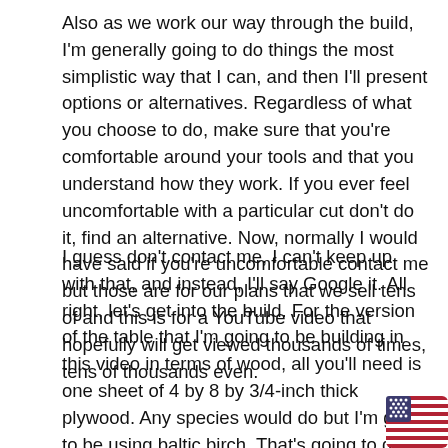Also as we work our way through the build, I'm generally going to do things the most simplistic way that I can, and then I'll present options or alternatives. Regardless of what you choose to do, make sure that you're comfortable around your tools and that you understand how they work. If you ever feel uncomfortable with a particular cut don't do it, find an alternative. Now, normally I would have said if you're uncomfortable contact me but those are for our plans that we sell tens of and this is for a YouTube video that hopefully will get viewed thousands of times, tens of thousands even.
I guess don't contact me, I can't keep up with that, and instead, I'll say Google it. All right, let's get into the build. For the version of the table that I'm going to be building in this video in terms of wood, all you'll need is one sheet of 4 by 8 by 3/4-inch thick plywood. Any species would do but I'm going to be using baltic birch. That's going to give us a finished table that's about 90 inches long, 38-1/2 inches wide, and about 29-1/2 inches tall. By the way, in our real plans, we give dimensions in both imperial and metric, but for the purposes of this video, I'm i
[Figure (illustration): American flag emoji/icon in the bottom right corner]